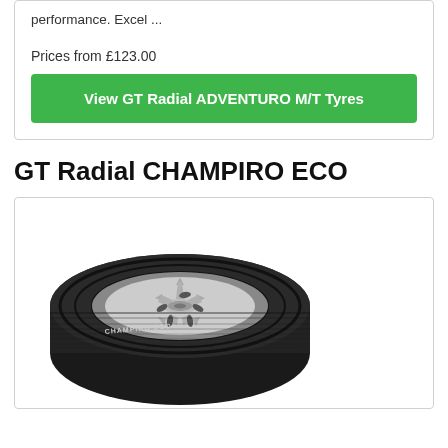performance. Excel ...
Prices from £123.00
View GT Radial ADVENTURO M/T Tyres
GT Radial CHAMPIRO ECO
[Figure (photo): GT Radial CHAMPIRO ECO tyre showing the tyre tread and white five-spoke alloy wheel, photographed at an angle]